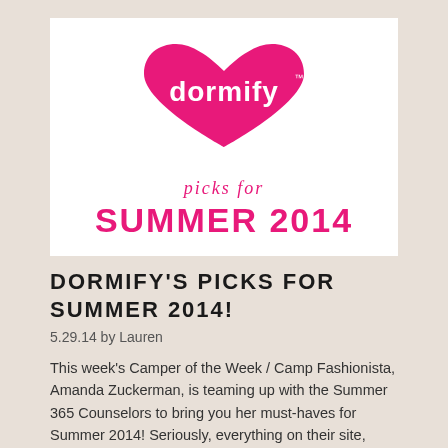[Figure (logo): Dormify logo: a pink heart shape with 'dormify' text in white and a trademark symbol, above the text 'picks for' in pink cursive and 'SUMMER 2014' in bold pink, all on a white background]
DORMIFY'S PICKS FOR SUMMER 2014!
5.29.14 by Lauren
This week's Camper of the Week / Camp Fashionista, Amanda Zuckerman, is teaming up with the Summer 365 Counselors to bring you her must-haves for Summer 2014! Seriously, everything on their site, from